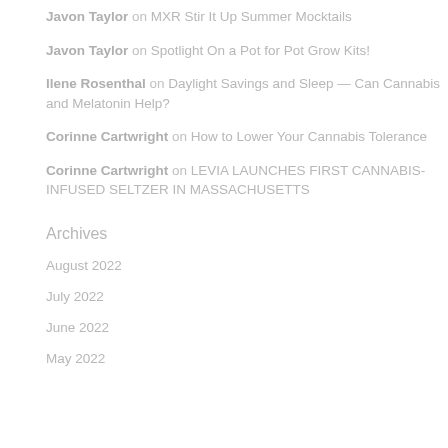Javon Taylor on MXR Stir It Up Summer Mocktails
Javon Taylor on Spotlight On a Pot for Pot Grow Kits!
Ilene Rosenthal on Daylight Savings and Sleep — Can Cannabis and Melatonin Help?
Corinne Cartwright on How to Lower Your Cannabis Tolerance
Corinne Cartwright on LEVIA LAUNCHES FIRST CANNABIS-INFUSED SELTZER IN MASSACHUSETTS
Archives
August 2022
July 2022
June 2022
May 2022